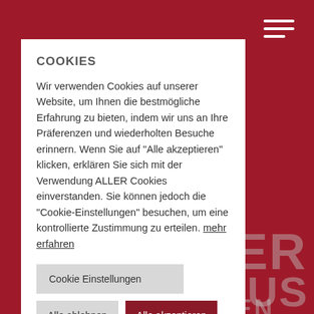[Figure (screenshot): Red website background with partial logo text visible]
COOKIES
Wir verwenden Cookies auf unserer Website, um Ihnen die bestmögliche Erfahrung zu bieten, indem wir uns an Ihre Präferenzen und wiederholten Besuche erinnern. Wenn Sie auf "Alle akzeptieren" klicken, erklären Sie sich mit der Verwendung ALLER Cookies einverstanden. Sie können jedoch die "Cookie-Einstellungen" besuchen, um eine kontrollierte Zustimmung zu erteilen. mehr erfahren
Cookie Einstellungen
Alle ablehnen
Alle akzeptieren